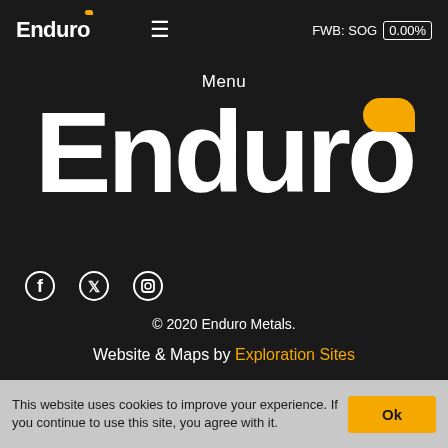Enduro  ≡  FWB: SOG 0.00%
Menu
[Figure (logo): Large Enduro Metals logo in white bold text with yellow/gold accent shape above the letter o on a dark background]
[Figure (infographic): Social media icons: Facebook, Twitter, Instagram — white circular outlines on dark background]
© 2020 Enduro Metals.
Website & Maps by Exploration Sites
This website uses cookies to improve your experience. If you continue to use this site, you agree with it.   Ok